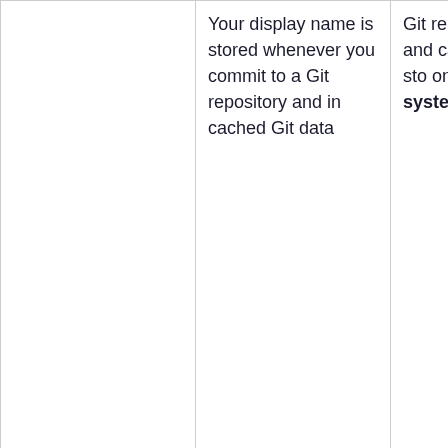|  | Your display name is stored whenever you commit to a Git repository and in cached Git data | Git reposito and ca are sto on the system |
| Your Email Address (such as jsmith@example.tld) | Your email address is stored on your profile, so [Unable to render {include} The included page could not be found] | Your pr is store the databa |